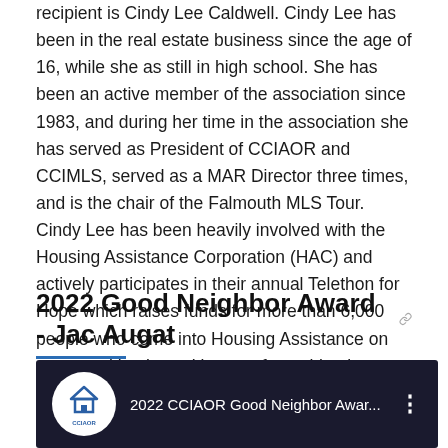recipient is Cindy Lee Caldwell. Cindy Lee has been in the real estate business since the age of 16, while she as still in high school. She has been an active member of the association since 1983, and during her time in the association she has served as President of CCIAOR and CCIMLS, served as a MAR Director three times, and is the chair of the Falmouth MLS Tour. Cindy Lee has been heavily involved with the Housing Assistance Corporation (HAC) and actively participates in their annual Telethon for Hope which raises funds for more than 6,000 people who come into Housing Assistance on an annual basis seeking a safe, stable place to call home.
2022 Good Neighbor Award - Jac Augat
[Figure (screenshot): Video thumbnail showing CCIAOR logo (white circle with house icon and CCIAOR text) on dark background, with text '2022 CCIAOR Good Neighbor Awar...' and three-dot menu icon]